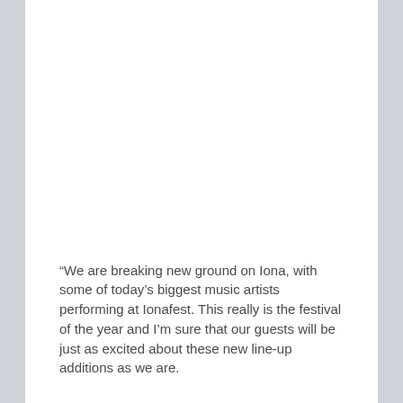“We are breaking new ground on Iona, with some of today’s biggest music artists performing at Ionafest. This really is the festival of the year and I’m sure that our guests will be just as excited about these new line-up additions as we are.